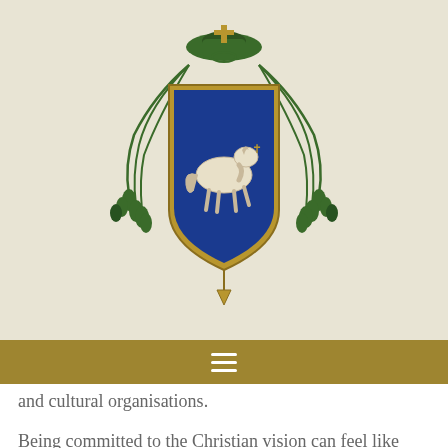[Figure (illustration): Episcopal coat of arms with green bishop's hat, tassels, and blue shield featuring a white horse, on a beige/cream background]
and cultural organisations.
Being committed to the Christian vision can feel like trying to keep the tide from coming in, which can't be done! We might think that things are just as they are: a whole new set of values is being put in place, in a way that's largely hidden, but unstoppable – like an iceberg. There'd be no contrast: we'd find ourselves heading for the bottom, like the Titanic.